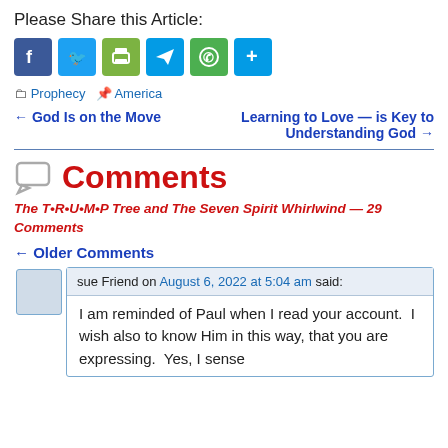Please Share this Article:
[Figure (infographic): Row of social share buttons: Facebook (blue), Twitter (light blue), Print (green), Telegram (blue), WhatsApp (green), More/Plus (blue)]
Prophecy  America
← God Is on the Move    Learning to Love — is Key to Understanding God →
Comments
The T•R•U•M•P Tree and The Seven Spirit Whirlwind — 29 Comments
← Older Comments
sue Friend on August 6, 2022 at 5:04 am said:
I am reminded of Paul when I read your account.  I wish also to know Him in this way, that you are expressing.  Yes, I sense